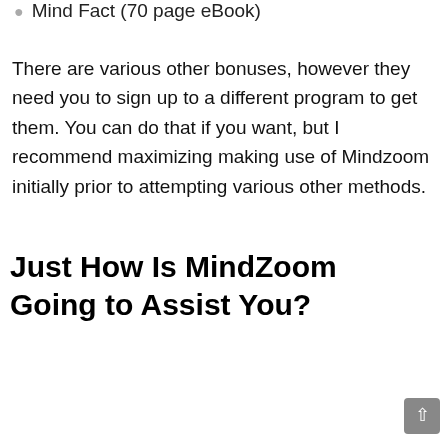Mind Fact (70 page eBook)
There are various other bonuses, however they need you to sign up to a different program to get them. You can do that if you want, but I recommend maximizing making use of Mindzoom initially prior to attempting various other methods.
Just How Is MindZoom Going to Assist You?
[Figure (screenshot): Screenshot of Mindzoom Subliminal Mixer application window showing File and Help menu, subliminal mixer logo, Step 1 Base sound and Step 2 Subliminal sound columns, each with Load buttons and file selection areas.]